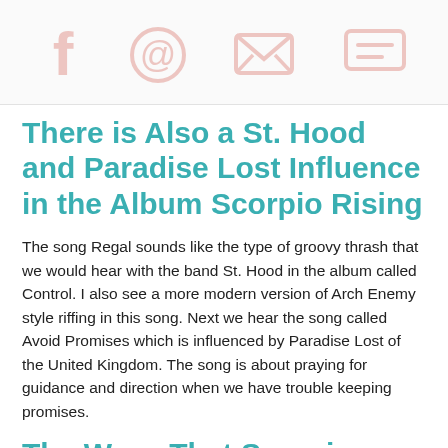[social share icons: Facebook, Pinterest, Email, Comment]
There is Also a St. Hood and Paradise Lost Influence in the Album Scorpio Rising
The song Regal sounds like the type of groovy thrash that we would hear with the band St. Hood in the album called Control. I also see a more modern version of Arch Enemy style riffing in this song. Next we hear the song called Avoid Promises which is influenced by Paradise Lost of the United Kingdom. The song is about praying for guidance and direction when we have trouble keeping promises.
The Ways That Scorpio Rising is Different From Other Prong Albums